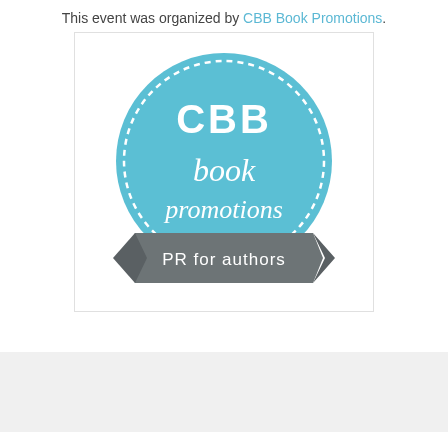This event was organized by CBB Book Promotions.
[Figure (logo): CBB Book Promotions logo — teal circle with white dashed border, white text 'CBB book promotions', gray banner at bottom with 'PR for authors']
3 comments:
Candace  6 November 2015 at 19:48